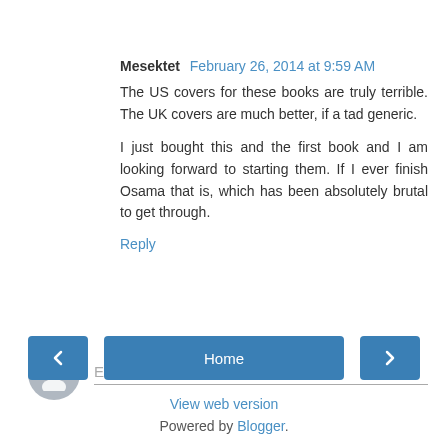Mesektet  February 26, 2014 at 9:59 AM
The US covers for these books are truly terrible. The UK covers are much better, if a tad generic.

I just bought this and the first book and I am looking forward to starting them. If I ever finish Osama that is, which has been absolutely brutal to get through.
Reply
Enter Comment
Home
View web version
Powered by Blogger.